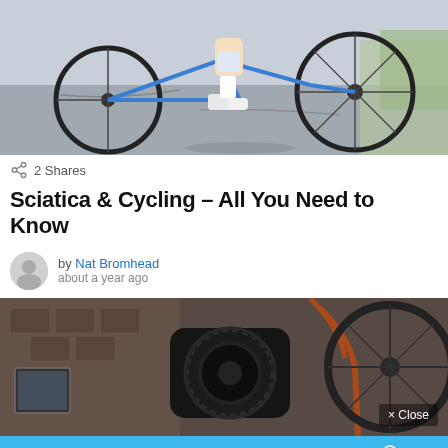[Figure (photo): Cyclist riding a blue road bike on pavement, lower body and legs visible, white cycling shoes and socks, black bicycle wheels, outdoor setting with trees in background]
2 Shares
Sciatica & Cycling – All You Need to Know
by Nat Bromhead
about a year ago
[Figure (photo): Close-up of a bicycle cassette/gears on a stationary trainer indoors, orange frame and black wheel visible, blurred background with shelves]
[Figure (infographic): Advertisement banner: Dad's Day Deals – Save up to 25%, with hot air balloons and magazine covers on blue sky background with clouds, featuring a yellow circle with 25% discount and CLICK HERE TO DISCOVER button]